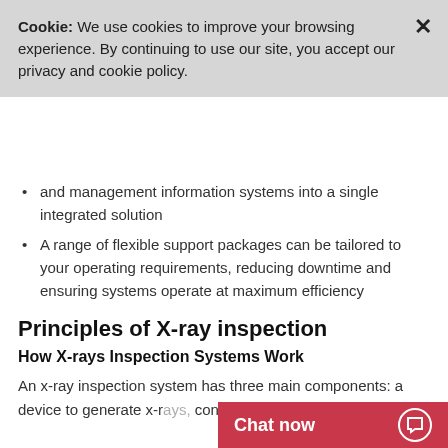Cookie: We use cookies to improve your browsing experience. By continuing to use our site, you accept our privacy and cookie policy.
and management information systems into a single integrated solution
A range of flexible support packages can be tailored to your operating requirements, reducing downtime and ensuring systems operate at maximum efficiency
Principles of X-ray inspection
How X-rays Inspection Systems Work
An x-ray inspection system has three main components: a device to generate x-r... contaminants and a hi...